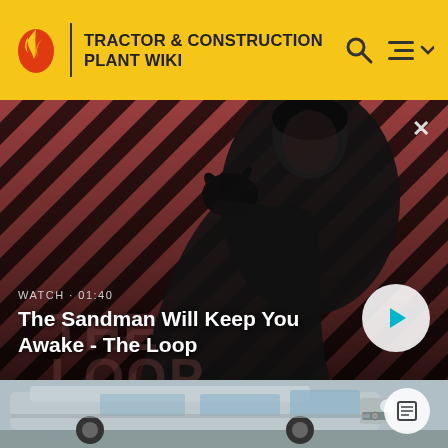TRACTOR & CONSTRUCTION PLANT WIKI
[Figure (screenshot): Video thumbnail showing a dark-clad figure with a raven on their shoulder against a red striped background. Text overlay reads WATCH · 01:40. Title: The Sandman Will Keep You Awake - The Loop. Play button visible on right.]
[Figure (photo): Photo of a silver Opel/Vauxhall Vivaro van parked on a street, with an article icon button on the right.]